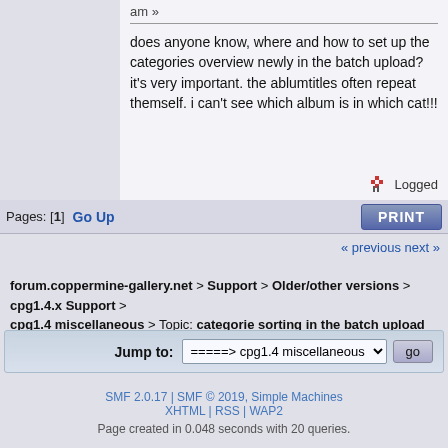am »
does anyone know, where and how to set up the categories overview newly in the batch upload? it's very important. the ablumtitles often repeat themself. i can't see which album is in which cat!!!
Logged
Pages: [1]  Go Up  PRINT
« previous next »
forum.coppermine-gallery.net > Support > Older/other versions > cpg1.4.x Support > cpg1.4 miscellaneous > Topic: categorie sorting in the batch upload
Jump to: =====> cpg1.4 miscellaneous  go
SMF 2.0.17 | SMF © 2019, Simple Machines
XHTML | RSS | WAP2
Page created in 0.048 seconds with 20 queries.